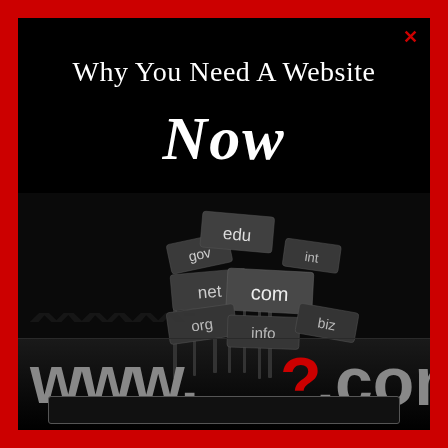Why You Need A Website Now
[Figure (illustration): 3D illustration of internet domain name signs (edu, gov, int, net, com, org, info, biz) stacked together like road signs, with large 3D letters 'www.?.com' at the bottom on a dark reflective surface. The question mark is red. The overall background is black.]